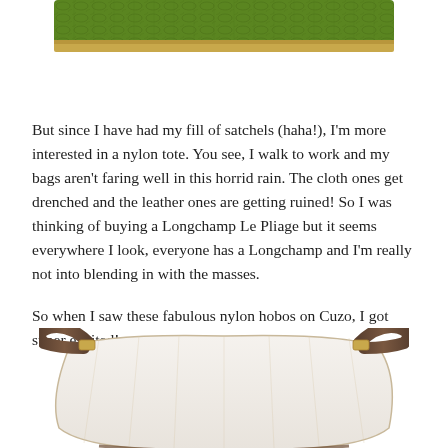[Figure (photo): Top portion of a green crocodile-textured handbag/satchel with gold hardware, partially visible at the top of the page.]
But since I have had my fill of satchels (haha!), I'm more interested in a nylon tote. You see, I walk to work and my bags aren't faring well in this horrid rain. The cloth ones get drenched and the leather ones are getting ruined! So I was thinking of buying a Longchamp Le Pliage but it seems everywhere I look, everyone has a Longchamp and I'm really not into blending in with the masses.
So when I saw these fabulous nylon hobos on Cuzo, I got super excited!
[Figure (photo): Bottom portion of a brown nylon hobo bag with leather trim and gold hardware, partially visible at the bottom of the page.]